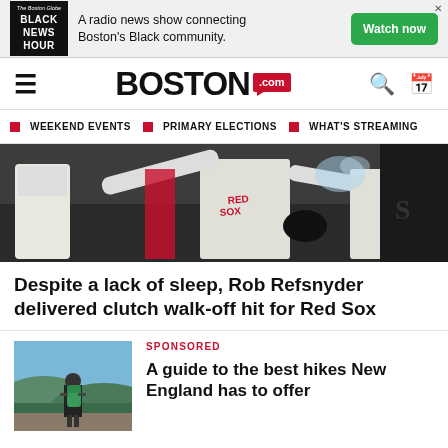[Figure (screenshot): Black News Hour advertisement banner: logo on dark background, text 'A radio news show connecting Boston's Black community.', green Watch now button]
[Figure (logo): Boston.com navigation bar with hamburger menu, Boston.com logo, search and calendar icons]
WEEKEND EVENTS
PRIMARY ELECTIONS
WHAT'S STREAMING
[Figure (photo): Red Sox baseball players celebrating a walk-off hit, players in white uniforms with RED SOX text visible]
Despite a lack of sleep, Rob Refsnyder delivered clutch walk-off hit for Red Sox
SPONSORED
[Figure (photo): Person with green backpack standing on a mountain overlook, scenic New England landscape]
A guide to the best hikes New England has to offer